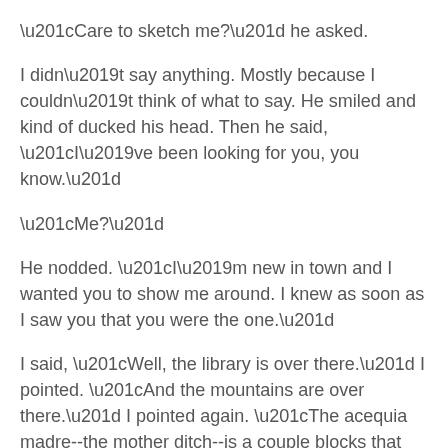“Care to sketch me?” he asked.
I didn’t say anything. Mostly because I couldn’t think of what to say. He smiled and kind of ducked his head. Then he said, “I’ve been looking for you, you know.”
“Me?”
He nodded. “I’m new in town and I wanted you to show me around. I knew as soon as I saw you that you were the one.”
I said, “Well, the library is over there.” I pointed. “And the mountains are over there.” I pointed again. “The acequia madre--the mother ditch--is a couple blocks that way. And the famous Santa Fe sky is above us.”
I had meant to be clever, but as soon as I said it all I felt like an idiot. I was so embarrassed I started to laugh. He laughed, too.
“Ask a stupid question, get a stupid answer,” he said.